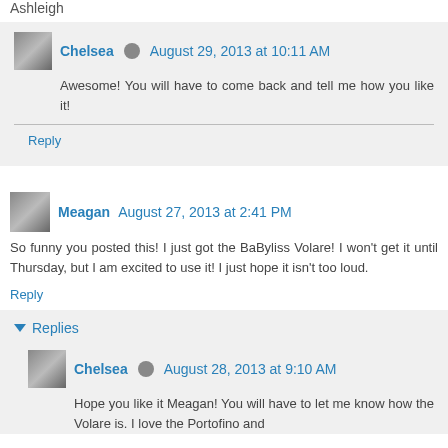Ashleigh
Chelsea  August 29, 2013 at 10:11 AM
Awesome! You will have to come back and tell me how you like it!
Reply
Meagan  August 27, 2013 at 2:41 PM
So funny you posted this! I just got the BaByliss Volare! I won't get it until Thursday, but I am excited to use it! I just hope it isn't too loud.
Reply
Replies
Chelsea  August 28, 2013 at 9:10 AM
Hope you like it Meagan! You will have to let me know how the Volare is. I love the Portofino and...